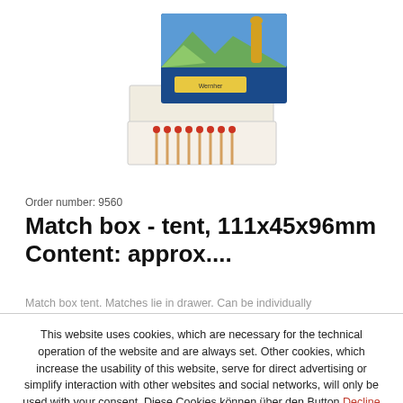[Figure (photo): A matchbox tent product with an open drawer showing matches inside. The box has a blue alpine landscape design with a beer bottle on the label.]
Order number: 9560
Match box - tent, 111x45x96mm Content: approx....
Match box tent. Matches lie in drawer. Can be individually
This website uses cookies, which are necessary for the technical operation of the website and are always set. Other cookies, which increase the usability of this website, serve for direct advertising or simplify interaction with other websites and social networks, will only be used with your consent. Diese Cookies können über den Button Decline abgelehnt werden. More information